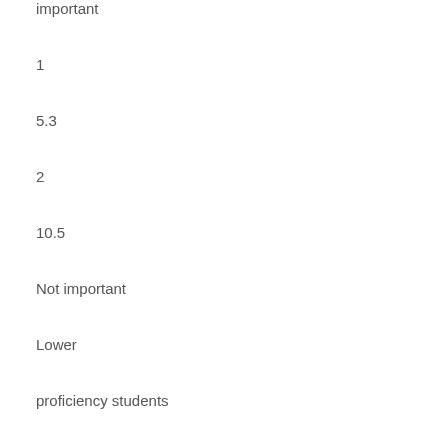important
1
5.3
2
10.5
Not important
Lower
proficiency students